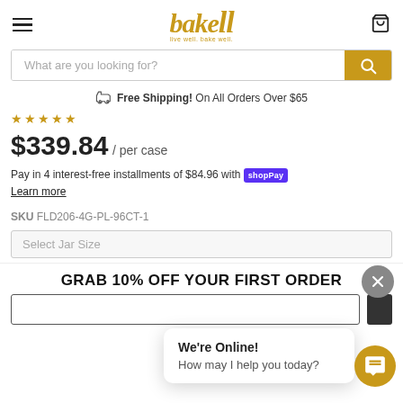[Figure (logo): Bakell logo with text 'live well. bake well.' and whisk illustration]
What are you looking for?
Free Shipping! On All Orders Over $65
★★★★★ (star rating)
$339.84 / per case
Pay in 4 interest-free installments of $84.96 with Shop Pay
Learn more
SKU FLD206-4G-PL-96CT-1
Select Jar Size
GRAB 10% OFF YOUR FIRST ORDER
We're Online!
How may I help you today?